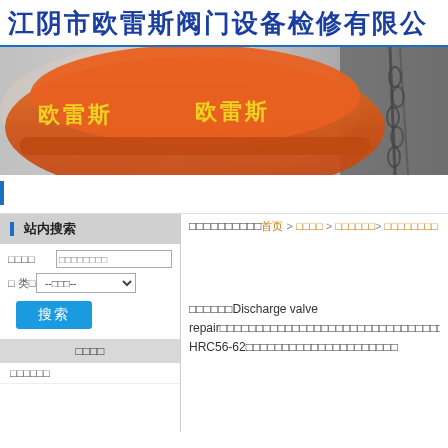江阴市欧雷斯阀门设备检修有限公
[Figure (photo): Orange safety helmet with Chinese text '欧雷斯' in yellow on it, photographed close-up with blurred background]
站内搜索
□□□□  □□□□□□□□
□ 类□  --□□□-- ∨
搜索
□□□□
□□□□□□
□□□□□□□□□□首页 > □□□□ > □□□□□□> □□□□□□□□
□□□□□□Discharge valve repair□□□□□□□□□□□□□□□□□□□□□□□□□□□□□□□□□□□V□□□□□□□□ HRC56-62□□□□□□□□□□□□□□□□□□□□□